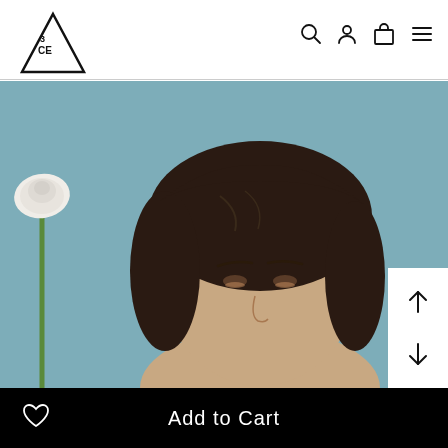[Figure (logo): 3CE STYLENANDA triangle logo in top left corner]
[Figure (screenshot): Navigation icons: search, user account, shopping bag, hamburger menu in top right corner]
[Figure (photo): Product photo: close-up of a woman with dark wavy hair holding a white flower on teal/blue-grey background, wearing subtle eye makeup]
[Figure (other): White panel with up and down arrow navigation controls overlaid on bottom-right of product image]
Add to Cart
[Figure (other): Heart/wishlist icon on the black add-to-cart bar]